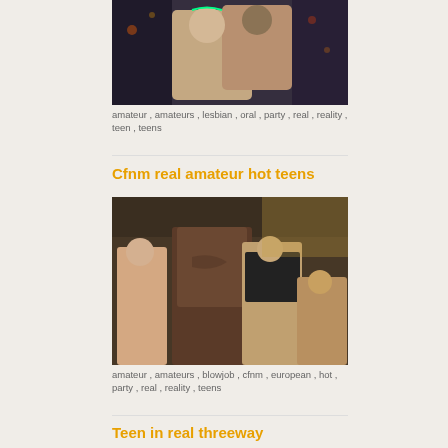[Figure (photo): Night party photo of young women]
amateur , amateurs , lesbian , oral , party , real , reality , teen , teens
Cfnm real amateur hot teens
[Figure (photo): Party scene with people dancing]
amateur , amateurs , blowjob , cfnm , european , hot , party , real , reality , teens
Teen in real threeway